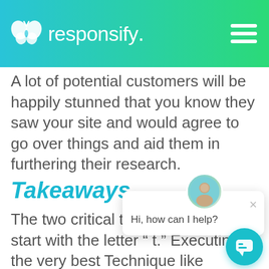responsify.
A lot of potential customers will be happily stunned that you know they saw your site and would agree to go over things and aid them in furthering their research.
Takeaways
The two critical ta... article both start with the letter " t." Executing the very best Technique like Inbound Marketing to offer strangers rewards for discovering your site when
[Figure (other): Chat widget popup with avatar, close button, and message 'Hi, how can I help?' and a teal circular chat button in the bottom right corner.]